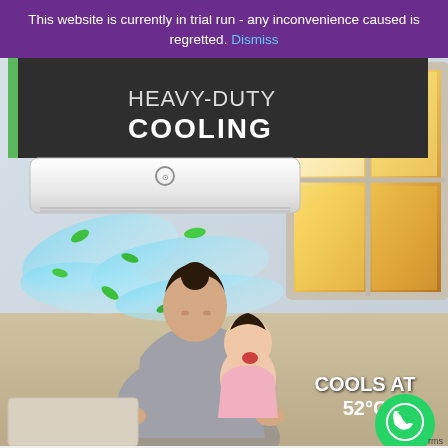This website is currently in trial run - any inconvenience caused is regretted. Dismiss
[Figure (photo): Air conditioner advertisement showing a white split AC unit mounted on wall with blue cool air streams and green leaves flowing downward. A woman and child sit below, smiling at each other. A window with warm sunset light is visible in background. Text overlays read 'HEAVY-DUTY COOLING' at top and 'COOLS AT 52°C' at bottom right. A WhatsApp chat button appears in bottom right corner.]